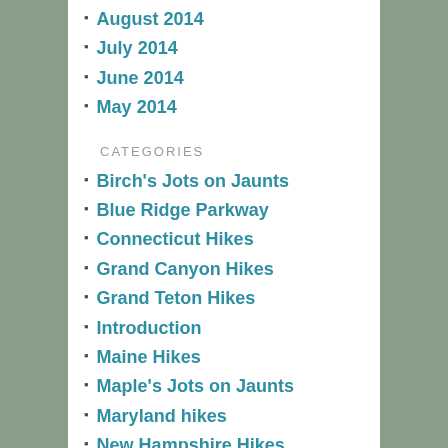August 2014
July 2014
June 2014
May 2014
CATEGORIES
Birch's Jots on Jaunts
Blue Ridge Parkway
Connecticut Hikes
Grand Canyon Hikes
Grand Teton Hikes
Introduction
Maine Hikes
Maple's Jots on Jaunts
Maryland hikes
New Hampshire Hikes
New Jersey Hikes
New York Hikes
Pennsylvania Hikes
Shenandoah
Tennessee Hikes